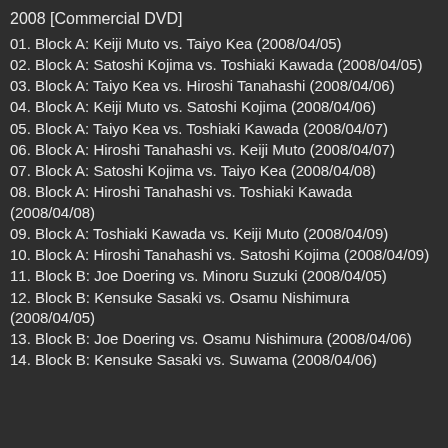2008 [Commercial DVD]
01. Block A: Keiji Muto vs. Taiyo Kea (2008/04/05)
02. Block A: Satoshi Kojima vs. Toshiaki Kawada (2008/04/05)
03. Block A: Taiyo Kea vs. Hiroshi Tanahashi (2008/04/06)
04. Block A: Keiji Muto vs. Satoshi Kojima (2008/04/06)
05. Block A: Taiyo Kea vs. Toshiaki Kawada (2008/04/07)
06. Block A: Hiroshi Tanahashi vs. Keiji Muto (2008/04/07)
07. Block A: Satoshi Kojima vs. Taiyo Kea (2008/04/08)
08. Block A: Hiroshi Tanahashi vs. Toshiaki Kawada (2008/04/08)
09. Block A: Toshiaki Kawada vs. Keiji Muto (2008/04/09)
10. Block A: Hiroshi Tanahashi vs. Satoshi Kojima (2008/04/09)
11. Block B: Joe Doering vs. Minoru Suzuki (2008/04/05)
12. Block B: Kensuke Sasaki vs. Osamu Nishimura (2008/04/05)
13. Block B: Joe Doering vs. Osamu Nishimura (2008/04/06)
14. Block B: Kensuke Sasaki vs. Suwama (2008/04/06)